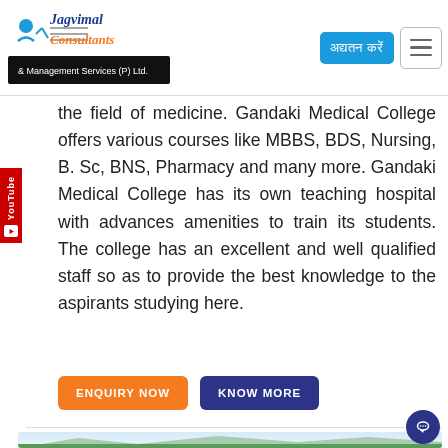[Figure (logo): Jagvimal Consultants & Management Services (P) Ltd. logo with blue and orange text and icon]
the field of medicine. Gandaki Medical College offers various courses like MBBS, BDS, Nursing, B. Sc, BNS, Pharmacy and many more. Gandaki Medical College has its own teaching hospital with advances amenities to train its students. The college has an excellent and well qualified staff so as to provide the best knowledge to the aspirants studying here.
ENQUIRY NOW
KNOW MORE
[Figure (photo): Landscape photo showing mountains and trees under a light blue sky, likely the campus surroundings of Gandaki Medical College]